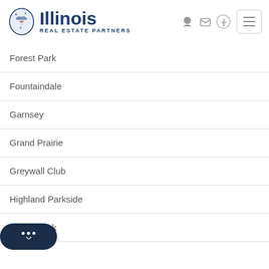Illinois Real Estate Partners
Forest Park
Fountaindale
Garnsey
Grand Prairie
Greywall Club
Highland Parkside
Ingalls Park